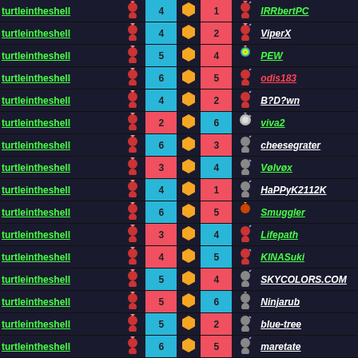| Player1 | Icon1 | Score1 | Hex | Score2 | Icon2 | Player2 |
| --- | --- | --- | --- | --- | --- | --- |
| turtleintheshell |  | 4 | ⬡ | 1 |  | IRRbertPC |
| turtleintheshell |  | 4 | ⬡ | 2 |  | ViperX |
| turtleintheshell |  | 5 | ⬡ | 4 |  | PEW |
| turtleintheshell |  | 6 | ⬡ | 5 |  | odis183 |
| turtleintheshell |  | 4 | ⬡ | 2 |  | B?D?wn |
| turtleintheshell |  | 2 | ⬡ | 6 |  | viva2 |
| turtleintheshell |  | 6 | ⬡ | 3 |  | cheesegrater |
| turtleintheshell |  | 3 | ⬡ | 4 |  | Vølvøx |
| turtleintheshell |  | 4 | ⬡ | 1 |  | HaPPyK2112K |
| turtleintheshell |  | 6 | ⬡ | 5 |  | Smuggler |
| turtleintheshell |  | 3 | ⬡ | 4 |  | Lifepath |
| turtleintheshell |  | 4 | ⬡ | 5 |  | KINASuki |
| turtleintheshell |  | 5 | ⬡ | 4 |  | SKYCOLORS.COM |
| turtleintheshell |  | 5 | ⬡ | 6 |  | Ninjarub |
| turtleintheshell |  | 5 | ⬡ | 2 |  | blue-tree |
| turtleintheshell |  | 6 | ⬡ | 5 |  | maretate |
| turtleintheshell |  | 4 | ⬡ | 2 |  | Sisko |
| turtleintheshell |  | 5 | ⬡ | 4 |  | Rutanium |